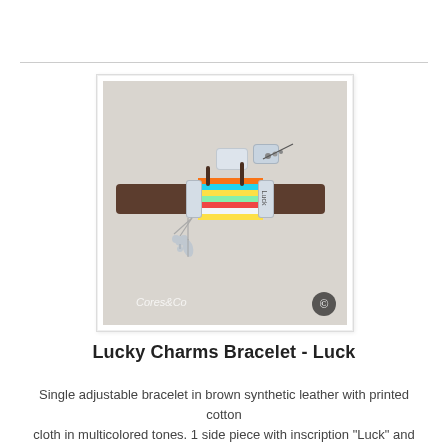[Figure (photo): Photo of a Lucky Charms Bracelet - Luck. Brown synthetic leather bracelet with multicolored printed cotton cloth in the center showing stripes of blue, teal, yellow, green, red, white. Silver rectangular clasp at top, silver side pieces, two silver charms (clover and leaf) hanging from the left side. 'Luck' inscription on one side piece. 'Cores&Co' watermark at bottom left and a logo at bottom right. Product shown on a light gray fabric background.]
Lucky Charms Bracelet - Luck
Single adjustable bracelet in brown synthetic leather with printed cotton cloth in multicolored tones. 1 side piece with inscription "Luck" and